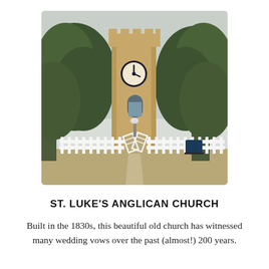[Figure (photo): Photograph of St. Luke's Anglican Church, showing a sandstone clock tower with battlements, surrounded by large green trees, with a white picket fence and gate at the front.]
ST. LUKE'S ANGLICAN CHURCH
Built in the 1830s, this beautiful old church has witnessed many wedding vows over the past (almost!) 200 years.